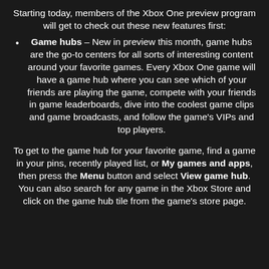Starting today, members of the Xbox One preview program will get to check out these new features first:
Game hubs – New in preview this month, game hubs are the go-to centers for all sorts of interesting content around your favorite games. Every Xbox One game will have a game hub where you can see which of your friends are playing the game, compete with your friends in game leaderboards, dive into the coolest game clips and game broadcasts, and follow the game's VIPs and top players.
To get to the game hub for your favorite game, find a game in your pins, recently played list, or My games and apps, then press the Menu button and select View game hub. You can also search for any game in the Xbox Store and click on the game hub tile from the game's store page.